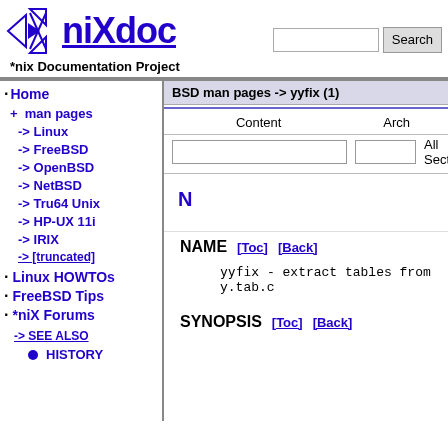[Figure (logo): niXdoc *nix Documentation Project logo with geometric icon]
Search [search box and button]
Home
+ man pages
-> Linux
-> FreeBSD
-> OpenBSD
-> NetBSD
-> Tru64 Unix
-> HP-UX 11i
-> IRIX
Linux HOWTOs
FreeBSD Tips
*niX Forums
BSD man pages -> yyfix (1)
Content | Arch | All Secti...
N
HISTORY
NAME [Toc] [Back]
yyfix - extract tables from y.tab.c
SYNOPSIS [Toc] [Back]